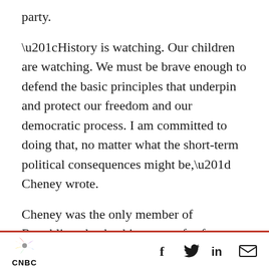party.
“History is watching. Our children are watching. We must be brave enough to defend the basic principles that underpin and protect our freedom and our democratic process. I am committed to doing that, no matter what the short-term political consequences might be,” Cheney wrote.
Cheney was the only member of Republican leadership to vote for former President Donald Trump’s impeachment in the wake of the Jan. 6 invasion of the Capitol by a mob of his supporters. Trump “summoned this mob,
CNBC